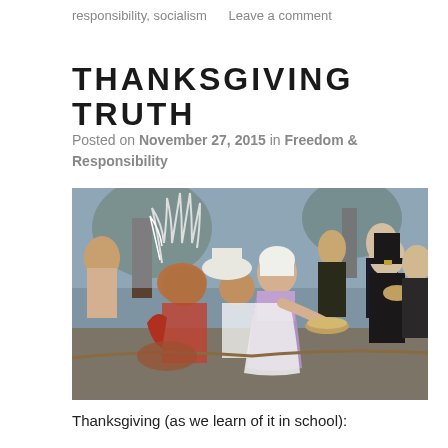responsibility, socialism    Leave a comment
THANKSGIVING TRUTH
Posted on November 27, 2015 in Freedom & Responsibility
[Figure (illustration): Historical painting depicting a Thanksgiving scene with Pilgrims and Native Americans sharing food. A woman in a white bonnet and purple dress serves food on a platter to a Native American man in feathered headdress, while other colonists and Native Americans are visible in the background.]
Thanksgiving (as we learn of it in school):